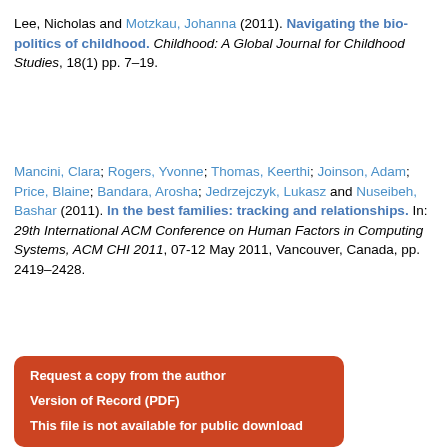Lee, Nicholas and Motzkau, Johanna (2011). Navigating the bio-politics of childhood. Childhood: A Global Journal for Childhood Studies, 18(1) pp. 7–19.
Mancini, Clara; Rogers, Yvonne; Thomas, Keerthi; Joinson, Adam; Price, Blaine; Bandara, Arosha; Jedrzejczyk, Lukasz and Nuseibeh, Bashar (2011). In the best families: tracking and relationships. In: 29th International ACM Conference on Human Factors in Computing Systems, ACM CHI 2011, 07-12 May 2011, Vancouver, Canada, pp. 2419–2428.
Request a copy from the author
Version of Record (PDF)
This file is not available for public download